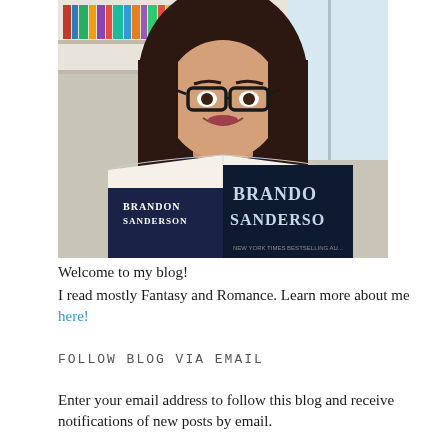[Figure (photo): A young woman with glasses and long dark hair holding open a large Brandon Sanderson book in front of her face, with bookshelves visible in the background.]
Welcome to my blog!
I read mostly Fantasy and Romance. Learn more about me here!
FOLLOW BLOG VIA EMAIL
Enter your email address to follow this blog and receive notifications of new posts by email.